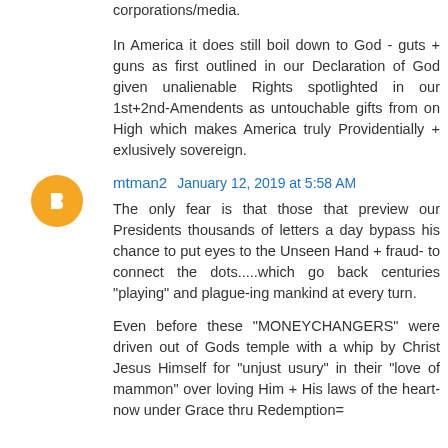corporations/media.
In America it does still boil down to God - guts + guns as first outlined in our Declaration of God given unalienable Rights spotlighted in our 1st+2nd-Amendents as untouchable gifts from on High which makes America truly Providentially + exlusively sovereign.
mtman2  January 12, 2019 at 5:58 AM
The only fear is that those that preview our Presidents thousands of letters a day bypass his chance to put eyes to the Unseen Hand + fraud- to connect the dots.....which go back centuries "playing" and plague-ing mankind at every turn.
Even before these "MONEYCHANGERS" were driven out of Gods temple with a whip by Christ Jesus Himself for "unjust usury" in their "love of mammon" over loving Him + His laws of the heart- now under Grace thru Redemption=